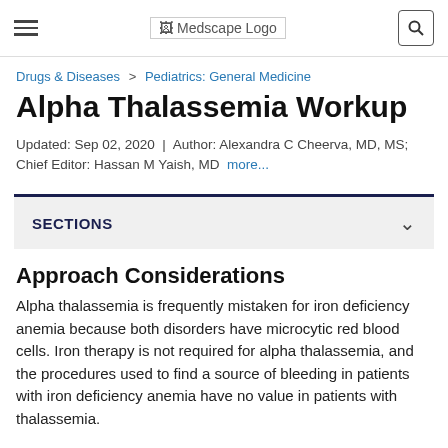Medscape Logo
Drugs & Diseases > Pediatrics: General Medicine
Alpha Thalassemia Workup
Updated: Sep 02, 2020 | Author: Alexandra C Cheerva, MD, MS; Chief Editor: Hassan M Yaish, MD more...
SECTIONS
Approach Considerations
Alpha thalassemia is frequently mistaken for iron deficiency anemia because both disorders have microcytic red blood cells. Iron therapy is not required for alpha thalassemia, and the procedures used to find a source of bleeding in patients with iron deficiency anemia have no value in patients with thalassemia.